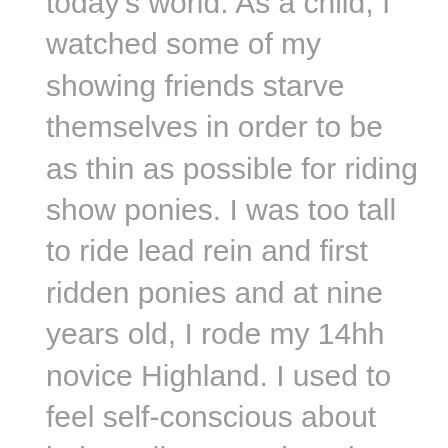today's world. As a child, I watched some of my showing friends starve themselves in order to be as thin as possible for riding show ponies. I was too tall to ride lead rein and first ridden ponies and at nine years old, I rode my 14hh novice Highland. I used to feel self-conscious about being tall – even though I am 5ft5 as an adult! As a welfare issue, we police rider weight, which is positive for our animals but do we offer the correct support and what message are we giving to impressionable children? I think it is important that we educate our young riders to be fit and healthy rather than to focus on a number on the scales.
As a young adult, I tried to balance studying for an English degree alongside working full time to pay